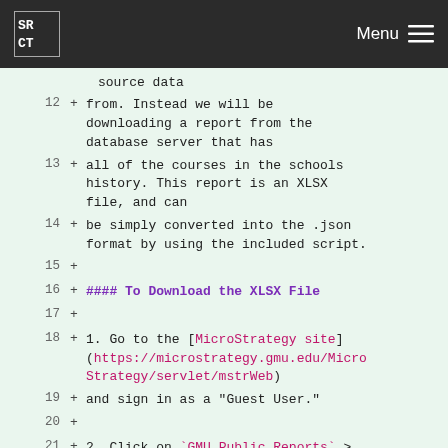SRCT | Menu
source data
12 + from. Instead we will be downloading a report from the database server that has
13 + all of the courses in the schools history. This report is an XLSX file, and can
14 + be simply converted into the .json format by using the included script.
15 +
16 + #### To Download the XLSX File
17 +
18 + 1. Go to the [MicroStrategy site](https://microstrategy.gmu.edu/MicroStrategy/servlet/mstrWeb) and sign in as a "Guest User."
19 + and sign in as a "Guest User."
20 +
21 + 2. Click on `GMU Public Reports` > `Shared Reports` > `Course Enrollment` > `Course Search - All